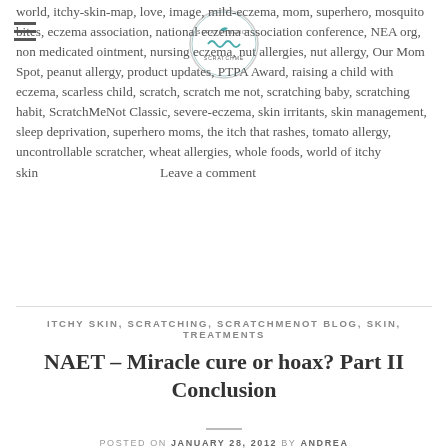ScratchMeNot blog header with logo and hamburger menu
world, itchy-skin-map, love, image, mild-eczema, mom, superhero, mosquito bites, eczema association, national eczema association conference, NEA org, non medicated ointment, nursing eczema, nut allergies, nut allergy, Our Mom Spot, peanut allergy, product updates, PTPA Award, raising a child with eczema, scarless child, scratch, scratch me not, scratching baby, scratching habit, ScratchMeNot Classic, severe-eczema, skin irritants, skin management, sleep deprivation, superhero moms, the itch that rashes, tomato allergy, uncontrollable scratcher, wheat allergies, whole foods, world of itchy skin
Leave a comment
ITCHY SKIN, SCRATCHING, SCRATCHMENOT BLOG, SKIN, TREATMENTS
NAET – Miracle cure or hoax? Part II Conclusion
POSTED ON JANUARY 28, 2012 BY ANDREA
[Figure (photo): Grayscale photo strip at the bottom of the page]